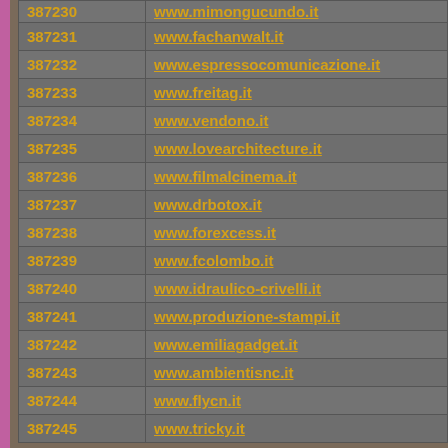| ID | URL |
| --- | --- |
| 387230 | www.mimongucundo.it |
| 387231 | www.fachanwalt.it |
| 387232 | www.espressocomunicazione.it |
| 387233 | www.freitag.it |
| 387234 | www.vendono.it |
| 387235 | www.lovearchitecture.it |
| 387236 | www.filmalcinema.it |
| 387237 | www.drbotox.it |
| 387238 | www.forexcess.it |
| 387239 | www.fcolombo.it |
| 387240 | www.idraulico-crivelli.it |
| 387241 | www.produzione-stampi.it |
| 387242 | www.emiliagadget.it |
| 387243 | www.ambientisnc.it |
| 387244 | www.flycn.it |
| 387245 | www.tricky.it |